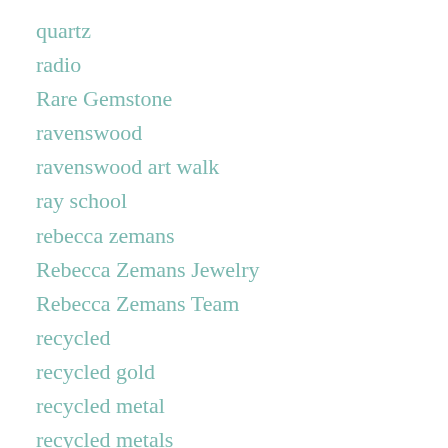quartz
radio
Rare Gemstone
ravenswood
ravenswood art walk
ray school
rebecca zemans
Rebecca Zemans Jewelry
Rebecca Zemans Team
recycled
recycled gold
recycled metal
recycled metals
recycled rose gold